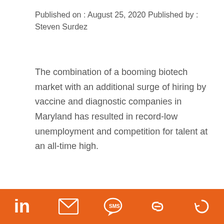Published on : August 25, 2020 Published by : Steven Surdez
The combination of a booming biotech market with an additional surge of hiring by vaccine and diagnostic companies in Maryland has resulted in record-low unemployment and competition for talent at an all-time high.
TAGGED IN : CAREERS  CATALENT  CULTURE  EMMES CORPORATION
We use cookies to ensure that we give you the best experience on our website. If you continue to use this site we will assume that you are happy with it.
LinkedIn | Email | SMS | Link | Refresh icons